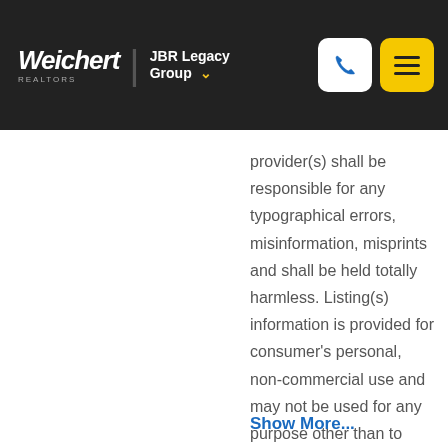Weichert REALTORS | JBR Legacy Group
provider(s) shall be responsible for any typographical errors, misinformation, misprints and shall be held totally harmless. Listing(s) information is provided for consumer's personal, non-commercial use and may not be used for any purpose other than to identify prospective properties consumers may
Show More...